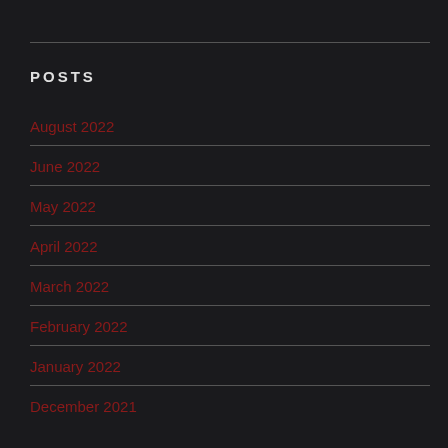POSTS
August 2022
June 2022
May 2022
April 2022
March 2022
February 2022
January 2022
December 2021